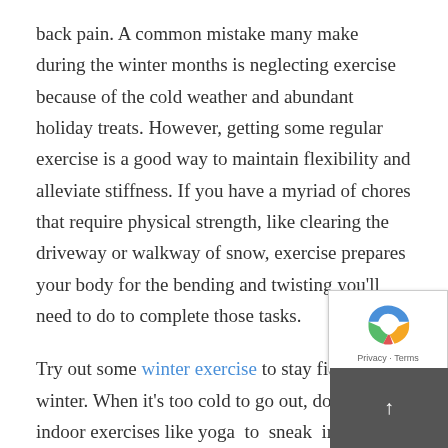back pain. A common mistake many make during the winter months is neglecting exercise because of the cold weather and abundant holiday treats. However, getting some regular exercise is a good way to maintain flexibility and alleviate stiffness. If you have a myriad of chores that require physical strength, like clearing the driveway or walkway of snow, exercise prepares your body for the bending and twisting you'll need to do to complete those tasks.
Try out some winter exercise to stay fit this winter. When it's too cold to go out, do some indoor exercises like yoga to sneak in a little exercise even when you're snowed in. Before you start, always remember to do some warmups to get your muscles ready for a workout